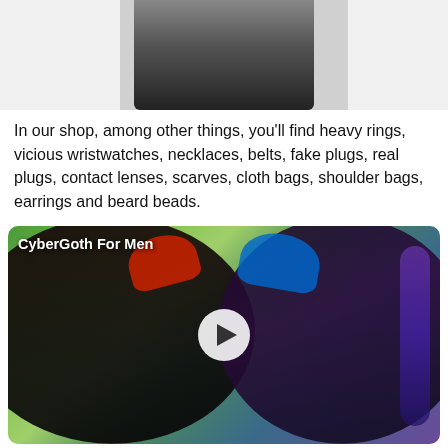[Figure (photo): Partial view of a dark-clothed figure, cropped at top of page]
In our shop, among other things, you'll find heavy rings, vicious wristwatches, necklaces, belts, fake plugs, real plugs, contact lenses, scarves, cloth bags, shoulder bags, earrings and beard beads.
[Figure (photo): Video thumbnail showing two people dressed in Cyber Goth style — one with a red mohawk, gas mask and goggles, the other with blue and purple hair and a tech headset. Label reads 'CyberGoth For Men' with a play button overlay.]
CyberGoth For Men
Cyber Goth Our cyber goth collection at Attitude Clothing offers you some classic cyber goth pieces, drawing on the futuristic alien vibe that the cyber goth subculture has evolved...